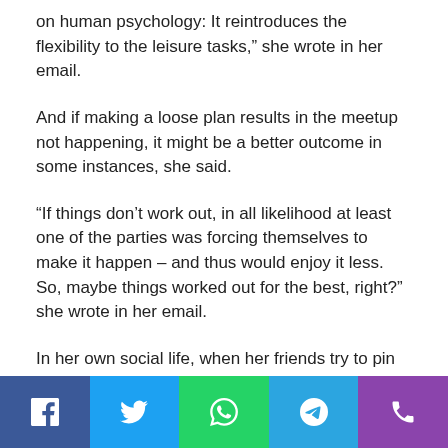on human psychology: It reintroduces the flexibility to the leisure tasks,” she wrote in her email.
And if making a loose plan results in the meetup not happening, it might be a better outcome in some instances, she said.
“If things don’t work out, in all likelihood at least one of the parties was forcing themselves to make it happen – and thus would enjoy it less. So, maybe things worked out for the best, right?” she wrote in her email.
In her own social life, when her friends try to pin her down to a specific time, she said she cites her research and finds “they are willing to play along.”
[Figure (other): Social media share bar with Facebook, Twitter, WhatsApp, Telegram, and phone icons]